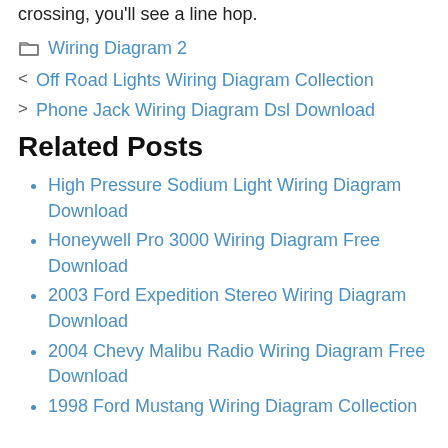crossing, you'll see a line hop.
Wiring Diagram 2
Off Road Lights Wiring Diagram Collection
Phone Jack Wiring Diagram Dsl Download
Related Posts
High Pressure Sodium Light Wiring Diagram Download
Honeywell Pro 3000 Wiring Diagram Free Download
2003 Ford Expedition Stereo Wiring Diagram Download
2004 Chevy Malibu Radio Wiring Diagram Free Download
1998 Ford Mustang Wiring Diagram Collection